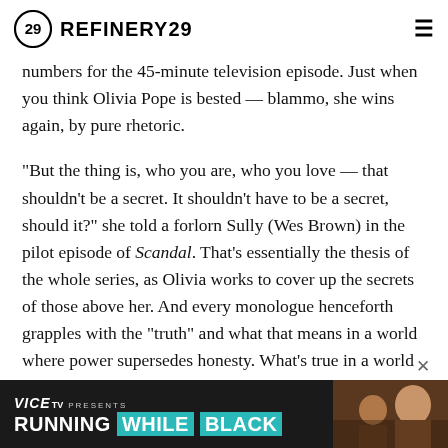REFINERY29
numbers for the 45-minute television episode. Just when you think Olivia Pope is bested — blammo, she wins again, by pure rhetoric.
"But the thing is, who you are, who you love — that shouldn't be a secret. It shouldn't have to be a secret, should it?" she told a forlorn Sully (Wes Brown) in the pilot episode of Scandal. That's essentially the thesis of the whole series, as Olivia works to cover up the secrets of those above her. And every monologue henceforth grapples with the "truth" and what that means in a world where power supersedes honesty. What's true in a world where lying is basically a job?
[Figure (screenshot): VICE TV PRESENTS advertisement banner with text RUNNING WHILE BLACK and an image of a person in the background]